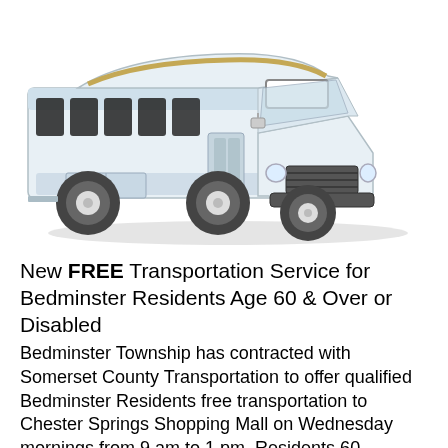[Figure (illustration): Illustration of a white shuttle bus / minibus viewed from a front-left angle, with dark tinted windows along the side and a blank white sign panel on the upper front.]
New FREE Transportation Service for Bedminster Residents Age 60 & Over or Disabled
Bedminster Township has contracted with Somerset County Transportation to offer qualified Bedminster Residents free transportation to Chester Springs Shopping Mall on Wednesday mornings from 9 am to 1 pm. Residents 60